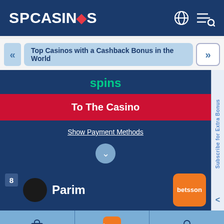SPCASINOS
Top Casinos with a Cashback Bonus in the World
spins
To The Casino
Show Payment Methods
Subscribe for Extra Bonus
8  Parim
betsson
Bonuses  Casino of the Month  Best Casinos